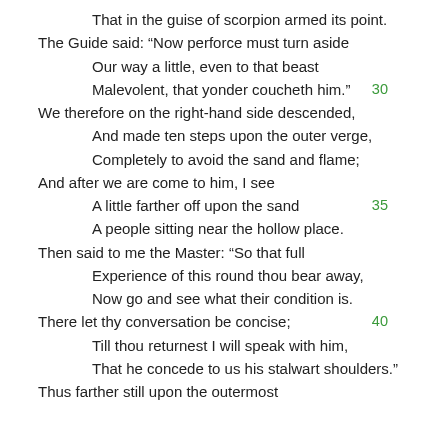That in the guise of scorpion armed its point.
The Guide said: "Now perforce must turn aside
    Our way a little, even to that beast
    Malevolent, that yonder coucheth him."
We therefore on the right-hand side descended,
    And made ten steps upon the outer verge,
    Completely to avoid the sand and flame;
And after we are come to him, I see
    A little farther off upon the sand
    A people sitting near the hollow place.
Then said to me the Master: "So that full
    Experience of this round thou bear away,
    Now go and see what their condition is.
There let thy conversation be concise;
    Till thou returnest I will speak with him,
    That he concede to us his stalwart shoulders."
Thus farther still upon the outermost